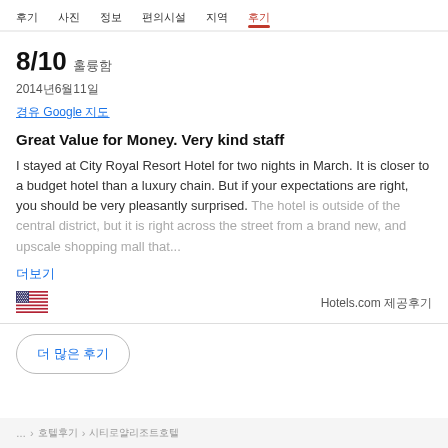후기  사진  정보  편의시설  지역  후기
8/10 훌륭함
2014년6월11일
경유 Google 지도
Great Value for Money. Very kind staff
I stayed at City Royal Resort Hotel for two nights in March. It is closer to a budget hotel than a luxury chain. But if your expectations are right, you should be very pleasantly surprised. The hotel is outside of the central district, but it is right across the street from a brand new, and upscale shopping mall that...
더 보기
Hotels.com 제공후기
더 많은 후기